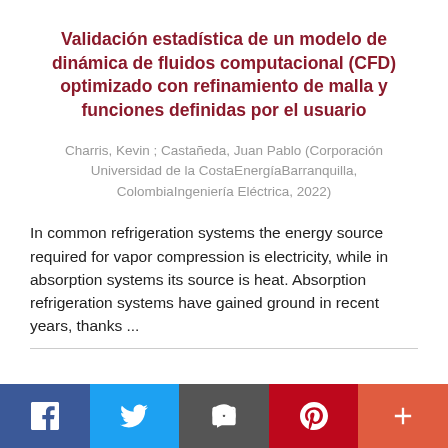Validación estadística de un modelo de dinámica de fluidos computacional (CFD) optimizado con refinamiento de malla y funciones definidas por el usuario
Charris, Kevin ; Castañeda, Juan Pablo (Corporación Universidad de la CostaEnergíaBarranquilla, ColombiaIngeniería Eléctrica, 2022)
In common refrigeration systems the energy source required for vapor compression is electricity, while in absorption systems its source is heat. Absorption refrigeration systems have gained ground in recent years, thanks ...
[Figure (other): Social sharing bar with Facebook, Twitter, email, Pinterest, and plus buttons]